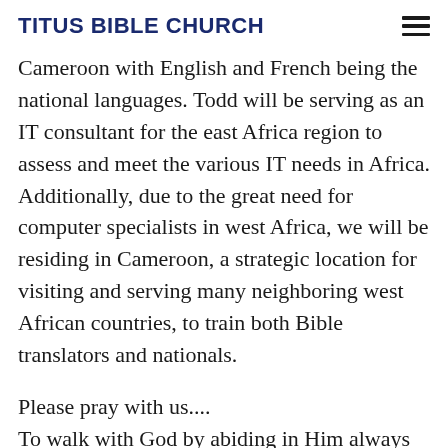TITUS BIBLE CHURCH
Cameroon with English and French being the national languages. Todd will be serving as an IT consultant for the east Africa region to assess and meet the various IT needs in Africa. Additionally, due to the great need for computer specialists in west Africa, we will be residing in Cameroon, a strategic location for visiting and serving many neighboring west African countries, to train both Bible translators and nationals.
Please pray with us....
To walk with God by abiding in Him always and being filled with the Holy Spirit
for the whole family to stay strong spiritually and physically to fulfill our calling, and for protection from tropical diseases, like malaria
for wisdom to learn French well and to develop great relationships on the field